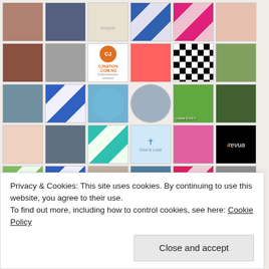[Figure (photo): Grid of profile pictures and avatar thumbnails showing various users, logos, and decorative patterns including quilt-style geometric designs, portrait photos, nature photos, and brand logos like CJNation and Trevua.]
Privacy & Cookies: This site uses cookies. By continuing to use this website, you agree to their use.
To find out more, including how to control cookies, see here: Cookie Policy
Close and accept